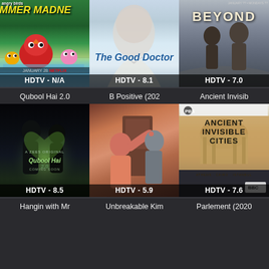[Figure (screenshot): Angry Birds Summer Madness Netflix show poster, animated characters, HDTV - N/A rating]
[Figure (screenshot): The Good Doctor TV show poster, close-up of actor's face, HDTV - 8.1 rating]
[Figure (screenshot): Beyond TV show poster, two characters standing on road, HDTV - 7.0 rating]
Qubool Hai 2.0
B Positive (202
Ancient Invisib
[Figure (screenshot): Qubool Hai 2.0 Zee5 Original show poster, silhouette of couple, HDTV - 8.5 rating]
[Figure (screenshot): B Positive (2020) TV show poster, man and woman at door, HDTV - 5.9 rating]
[Figure (screenshot): Ancient Invisible Cities PBS documentary poster, Athens Cairo Istanbul, HDTV - 7.6 rating]
Hangin with Mr
Unbreakable Kim
Parlement (2020